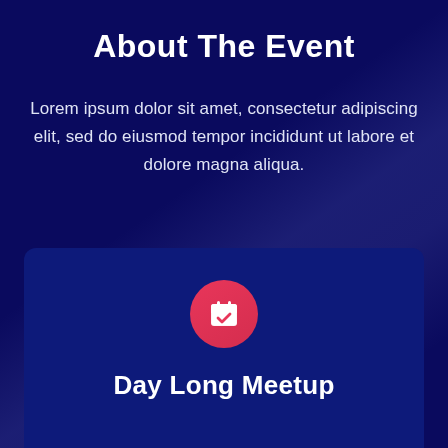About The Event
Lorem ipsum dolor sit amet, consectetur adipiscing elit, sed do eiusmod tempor incididunt ut labore et dolore magna aliqua.
[Figure (illustration): A card with a red circle icon containing a calendar checkmark symbol, and the text 'Day Long Meetup' below it]
Day Long Meetup